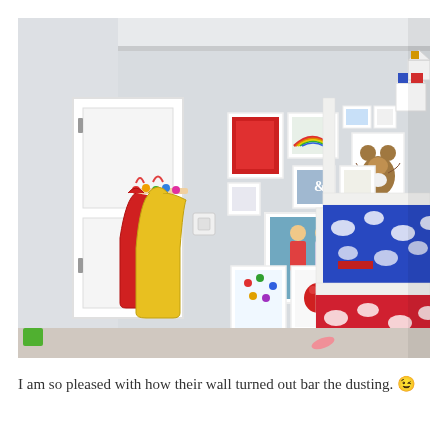[Figure (photo): Interior photo of a children's bedroom with a white bunk bed featuring blue and red cloud-patterned bedding, a white door with colorful coat hooks holding a red and a yellow children's jacket, and a gallery wall of framed artworks and photos. House-shaped white shelves with toys are visible in the upper right corner.]
I am so pleased with how their wall turned out bar the dusting. 😉